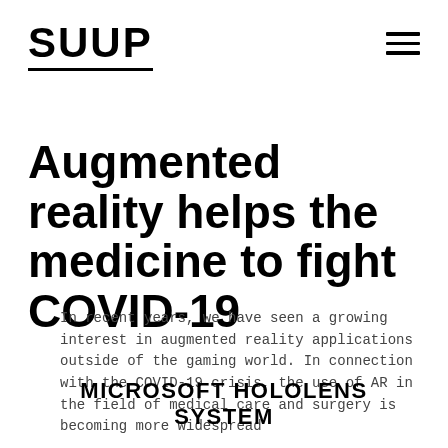SUUP
Augmented reality helps the medicine to fight COVID-19
In recent years, we have seen a growing interest in augmented reality applications outside of the gaming world. In connection with the COVID-19 crisis, the use of AR in the field of medical care and surgery is becoming more widespread
MICROSOFT HOLOLENS SYSTEM